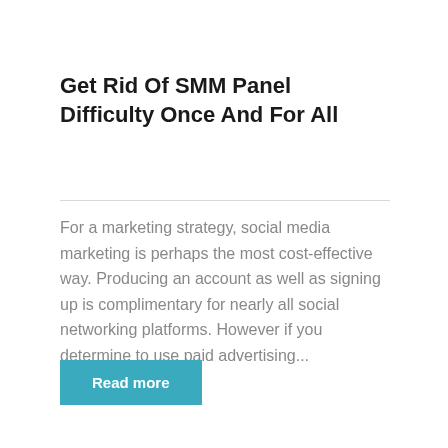Get Rid Of SMM Panel Difficulty Once And For All
For a marketing strategy, social media marketing is perhaps the most cost-effective way. Producing an account as well as signing up is complimentary for nearly all social networking platforms. However if you determine to use paid advertising...
Read more